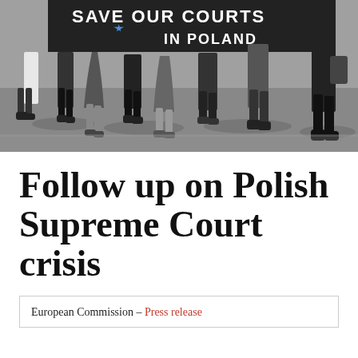[Figure (photo): Black and white photo of protesters holding a banner reading 'SAVE OUR COURTS IN POLAND', showing their lower bodies and feet on a street]
Follow up on Polish Supreme Court crisis
European Commission – Press release